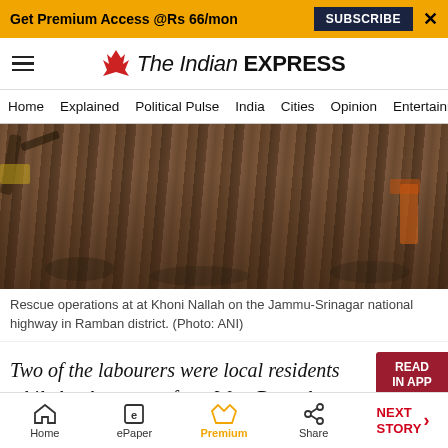Get Premium Access @Rs 66/mon  SUBSCRIBE  ×
The Indian EXPRESS
Home  Explained  Political Pulse  India  Cities  Opinion  Entertainment
[Figure (photo): Rescue operations with heavy machinery at Khoni Nallah on the Jammu-Srinagar national highway in Ramban district. Brown rocky rubble and construction equipment visible.]
Rescue operations at at Khoni Nallah on the Jammu-Srinagar national highway in Ramban district. (Photo: ANI)
Two of the labourers were local residents while h others were from West Bengal, one from Assam and two from Nepal.
ADVERTISEMENT
Home  ePaper  Premium  Share  NEXT STORY